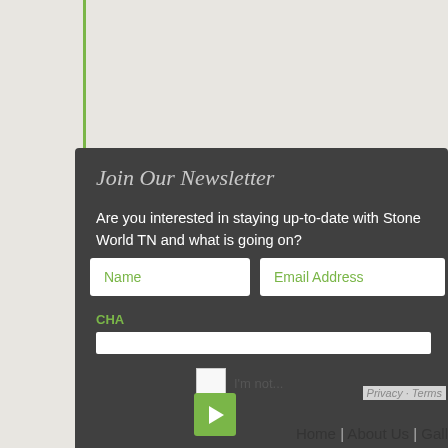Join Our Newsletter
Are you interested in staying up-to-date with Stone World TN and what is going on?
[Figure (screenshot): Newsletter signup form with Name and Email Address input fields, a CAPTCHA label and input bar, a reCAPTCHA checkbox row, and Privacy - Terms link]
[Figure (other): Green play button (right-pointing triangle)]
Home | About Us | Gall